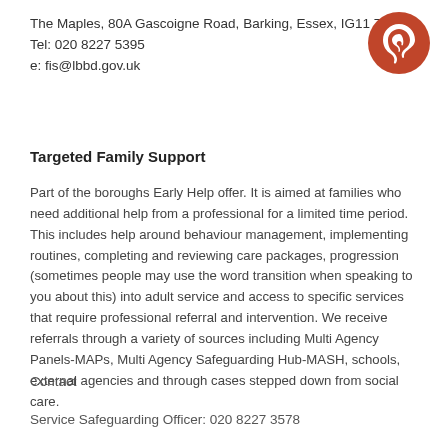The Maples, 80A Gascoigne Road, Barking, Essex, IG11 7LO
Tel: 020 8227 5395
e: fis@lbbd.gov.uk
[Figure (illustration): Orange circle with a white ear/hearing loop icon]
Targeted Family Support
Part of the boroughs Early Help offer. It is aimed at families who need additional help from a professional for a limited time period. This includes help around behaviour management, implementing routines, completing and reviewing care packages, progression (sometimes people may use the word transition when speaking to you about this) into adult service and access to specific services that require professional referral and intervention. We receive referrals through a variety of sources including Multi Agency Panels-MAPs, Multi Agency Safeguarding Hub-MASH, schools, external agencies and through cases stepped down from social care.
Contact
Service Safeguarding Officer: 020 8227 3578